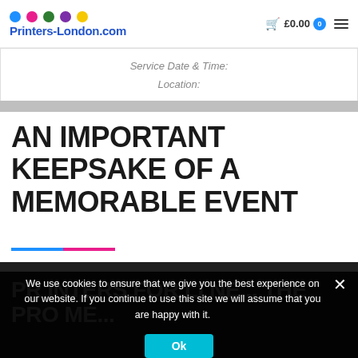[Figure (logo): Printers-London.com logo with colored dots (blue, pink, green, purple, yellow) above the brand name text]
£0.00  0  ☰
Service Date & Time:
Location:
AN IMPORTANT KEEPSAKE OF A MEMORABLE EVENT
We use cookies to ensure that we give you the best experience on our website. If you continue to use this site we will assume that you are happy with it.